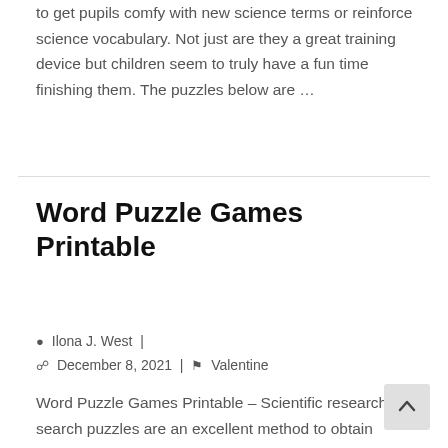to get pupils comfy with new science terms or reinforce science vocabulary. Not just are they a great training device but children seem to truly have a fun time finishing them. The puzzles below are …
Word Puzzle Games Printable
Ilona J. West  |  December 8, 2021  |  Valentine
Word Puzzle Games Printable – Scientific research word search puzzles are an excellent method to obtain trainees comfortable with brand-new scientific research terms or enhance scientific research vocabulary. Not only are they a